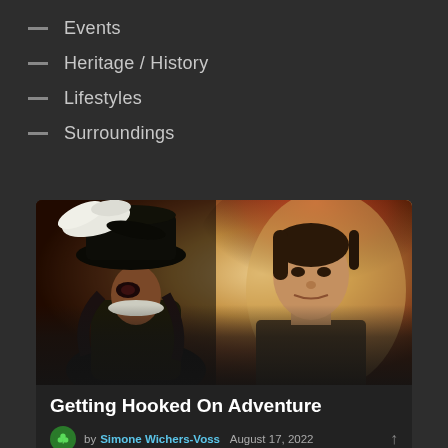Events
Heritage / History
Lifestyles
Surroundings
[Figure (photo): Movie still showing Captain Hook villain in ornate costume with feathered hat facing Robin Williams as Peter Pan character, warm golden background]
Getting Hooked On Adventure
by Simone Wichers-Voss  August 17, 2022